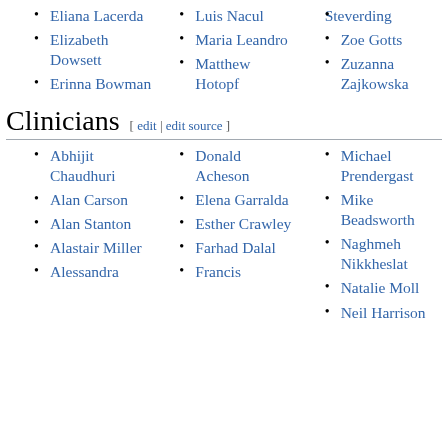Eliana Lacerda
Elizabeth Dowsett
Erinna Bowman
Luis Nacul
Maria Leandro
Matthew Hotopf
Steverding
Zoe Gotts
Zuzanna Zajkowska
Clinicians [ edit | edit source ]
Abhijit Chaudhuri
Alan Carson
Alan Stanton
Alastair Miller
Alessandra
Donald Acheson
Elena Garralda
Esther Crawley
Farhad Dalal
Francis
Michael Prendergast
Mike Beadsworth
Naghmeh Nikkheslat
Natalie Moll
Neil Harrison